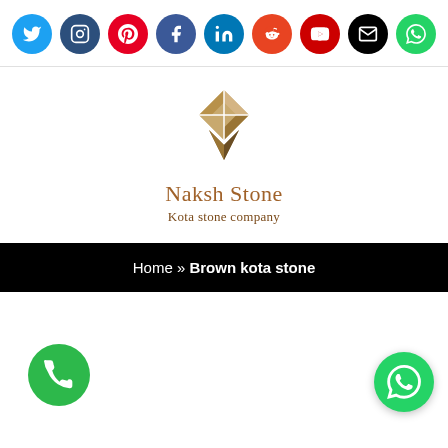[Figure (infographic): Row of 9 social media icons: Twitter (light blue), Instagram (dark blue), Pinterest (red), Facebook (dark blue), LinkedIn (blue), Reddit (orange-red), YouTube (red), Email (black), WhatsApp (green)]
[Figure (logo): Naksh Stone logo with diamond-shaped tile pattern in brown tones, company name 'Naksh Stone' and tagline 'Kota stone company']
Home » Brown kota stone
[Figure (infographic): Green phone call button (circle) at bottom left and green WhatsApp button (circle) at bottom right]